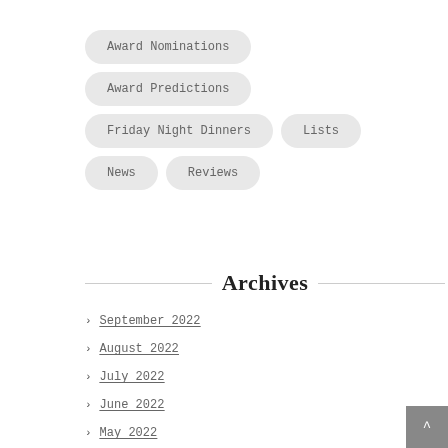Award Nominations
Award Predictions
Friday Night Dinners
Lists
News
Reviews
Archives
September 2022
August 2022
July 2022
June 2022
May 2022